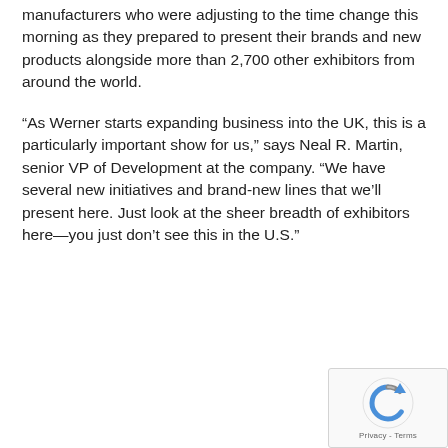manufacturers who were adjusting to the time change this morning as they prepared to present their brands and new products alongside more than 2,700 other exhibitors from around the world.
“As Werner starts expanding business into the UK, this is a particularly important show for us,” says Neal R. Martin, senior VP of Development at the company. “We have several new initiatives and brand-new lines that we’ll present here. Just look at the sheer breadth of exhibitors here—you just don’t see this in the U.S.”
[Figure (other): reCAPTCHA widget showing circular arrow icon and Privacy - Terms text]